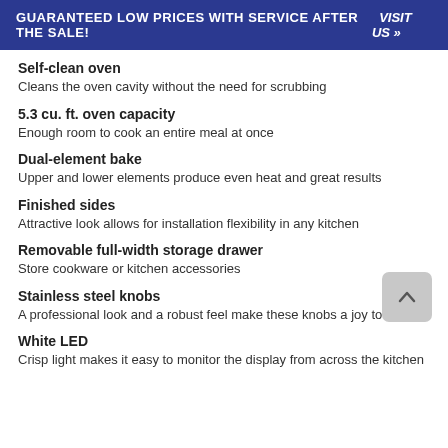GUARANTEED LOW PRICES WITH SERVICE AFTER THE SALE! VISIT US »
Self-clean oven
Cleans the oven cavity without the need for scrubbing
5.3 cu. ft. oven capacity
Enough room to cook an entire meal at once
Dual-element bake
Upper and lower elements produce even heat and great results
Finished sides
Attractive look allows for installation flexibility in any kitchen
Removable full-width storage drawer
Store cookware or kitchen accessories
Stainless steel knobs
A professional look and a robust feel make these knobs a joy to use
White LED
Crisp light makes it easy to monitor the display from across the kitchen